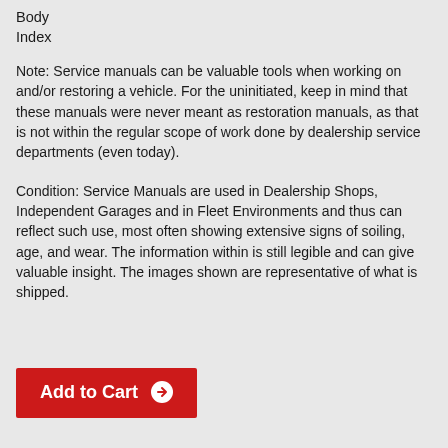Body
Index
Note: Service manuals can be valuable tools when working on and/or restoring a vehicle. For the uninitiated, keep in mind that these manuals were never meant as restoration manuals, as that is not within the regular scope of work done by dealership service departments (even today).
Condition: Service Manuals are used in Dealership Shops, Independent Garages and in Fleet Environments and thus can reflect such use, most often showing extensive signs of soiling, age, and wear. The information within is still legible and can give valuable insight. The images shown are representative of what is shipped.